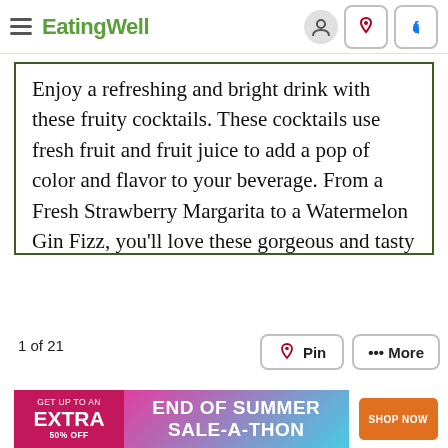EatingWell
Enjoy a refreshing and bright drink with these fruity cocktails. These cocktails use fresh fruit and fruit juice to add a pop of color and flavor to your beverage. From a Fresh Strawberry Margarita to a Watermelon Gin Fizz, you'll love these gorgeous and tasty drinks.
1 of 21
[Figure (screenshot): Pin and More action buttons]
[Figure (infographic): Advertisement banner: GET UP TO AN EXTRA 50% OFF | END OF SUMMER SALE-A-THON | SHOP NOW]